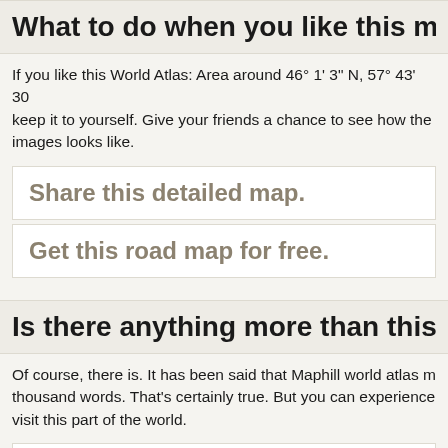What to do when you like this m
If you like this World Atlas: Area around 46° 1' 3" N, 57° 43' 30 keep it to yourself. Give your friends a chance to see how the images looks like.
Share this detailed map.
Get this road map for free.
Is there anything more than this
Of course, there is. It has been said that Maphill world atlas m thousand words. That's certainly true. But you can experience visit this part of the world.
Be inspired.
Discount rates for hotels.